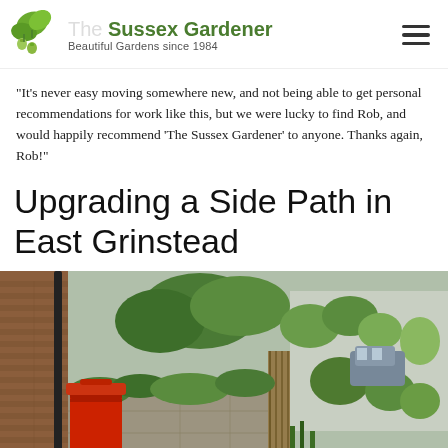The Sussex Gardener – Beautiful Gardens since 1984
"It's never easy moving somewhere new, and not being able to get personal recommendations for work like this, but we were lucky to find Rob, and would happily recommend 'The Sussex Gardener' to anyone. Thanks again, Rob!"
Upgrading a Side Path in East Grinstead
[Figure (photo): A narrow side path between a brick wall of a house and a wooden fence, with a red wheelie bin, overgrown shrubs and hedges, and a driveway/street visible in the background.]